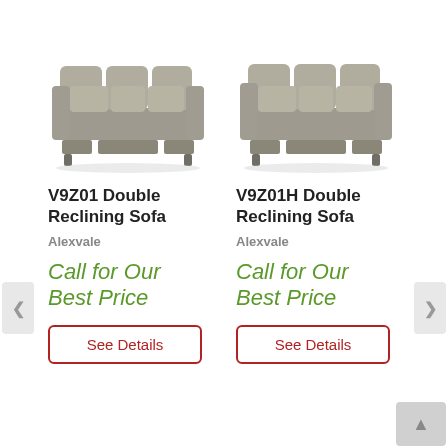[Figure (photo): V9Z01 Double Reclining Sofa in gray/taupe fabric, front view]
V9Z01 Double Reclining Sofa
Alexvale
Call for Our Best Price
See Details
[Figure (photo): V9Z01H Double Reclining Sofa in gray/taupe fabric, front view]
V9Z01H Double Reclining Sofa
Alexvale
Call for Our Best Price
See Details